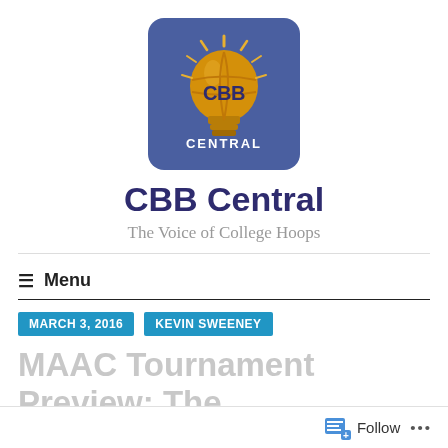[Figure (logo): CBB Central logo: blue/navy rounded square background with a golden lightbulb. The bulb has basketball texture lines and text 'CBB' in bold blue letters in the center, with 'CENTRAL' in white letters at the bottom of the bulb. Lines radiate from the top of the bulb.]
CBB Central
The Voice of College Hoops
Menu
MARCH 3, 2016
KEVIN SWEENEY
MAAC Tournament Preview: The
Follow ...